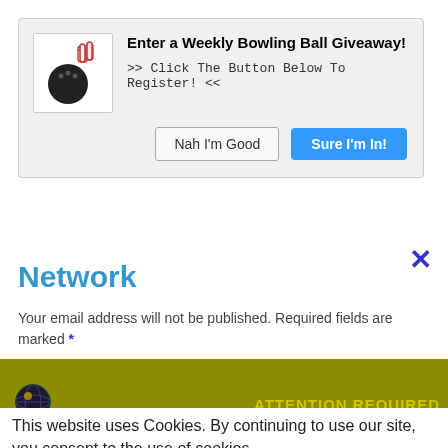[Figure (screenshot): Popup dialog for a Weekly Bowling Ball Giveaway with a bowling ball and pins icon, bold title, subtitle with chevrons, and two buttons: 'Nah I'm Good' and 'Sure I'm In!']
Enter a Weekly Bowling Ball Giveaway!
>> Click The Button Below To Register! <<
Nah I'm Good
Sure I'm In!
Network
Your email address will not be published. Required fields are marked *
COMMENT *
[Figure (screenshot): Cookie consent banner with dark yellow/olive header bar showing globe icon and 'ATTENTION REQUIRED' text, white content area with cookie message, and two buttons: green 'Accept' and dark 'Privacy Center']
ATTENTION REQUIRED
This website uses Cookies. By continuing to use our site, you consent to the use of cookies.
Accept
Privacy Center